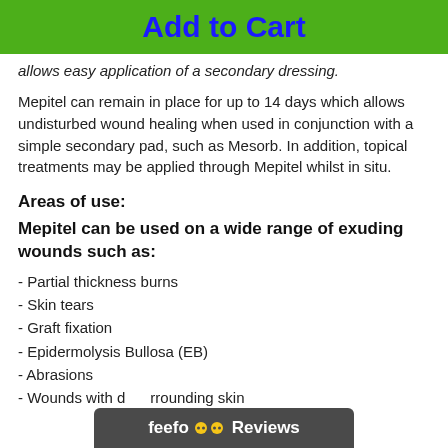Add to Cart
allows easy application of a secondary dressing.
Mepitel can remain in place for up to 14 days which allows undisturbed wound healing when used in conjunction with a simple secondary pad, such as Mesorb. In addition, topical treatments may be applied through Mepitel whilst in situ.
Areas of use:
Mepitel can be used on a wide range of exuding wounds such as:
- Partial thickness burns
- Skin tears
- Graft fixation
- Epidermolysis Bullosa (EB)
- Abrasions
- Wounds with d... rrounding skin
[Figure (logo): Feefo Reviews overlay banner]